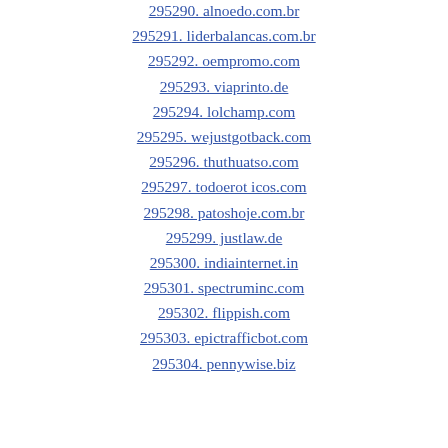295290. alnoedo.com.br
295291. liderbalancas.com.br
295292. oempromo.com
295293. viaprinto.de
295294. lolchamp.com
295295. wejustgotback.com
295296. thuthuatso.com
295297. todoerot icos.com
295298. patoshoje.com.br
295299. justlaw.de
295300. indiainternet.in
295301. spectruminc.com
295302. flippish.com
295303. epictrafficbot.com
295304. pennywise.biz